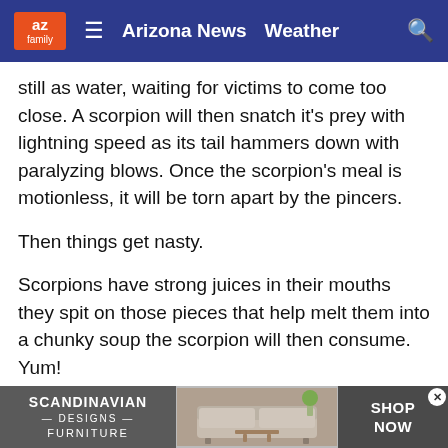az family | Arizona News  Weather
still as water, waiting for victims to come too close. A scorpion will then snatch it's prey with lightning speed as its tail hammers down with paralyzing blows. Once the scorpion's meal is motionless, it will be torn apart by the pincers.
Then things get nasty.
Scorpions have strong juices in their mouths they spit on those pieces that help melt them into a chunky soup the scorpion will then consume. Yum!
5. Scorpions glow under a black light
A black light makes scorpions easier to see at night. (Source: 3TV/CBS 5 News)
[Figure (screenshot): Advertisement banner for Scandinavian Designs Furniture with a sofa image and Shop Now call to action]